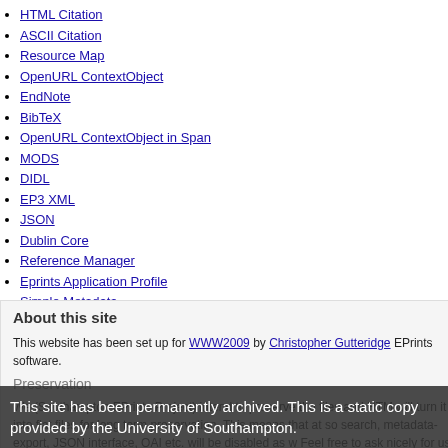HTML Citation
ASCII Citation
Resource Map
OpenURL ContextObject
EndNote
BibTeX
OpenURL ContextObject in Span
MODS
DIDL
EP3 XML
JSON
Dublin Core
Reference Manager
Eprints Application Profile
Simple Metadata
Refer
METS
About this site
This website has been set up for WWW2009 by Christopher Gutteridge EPrints software.
Preservation
We (Southampton EPrints Project) intend to preserve the files and HTM will turn it into flat files for long term preservation. This means that at so search, metadata-export, JSON interface, OAI etc. will be disabled as w Feel free to ask nicely for us to keep the dynamic site online longer if th now happened, this site is now static!
This site has been permanently archived. This is a static copy provided by the University of Southampton.